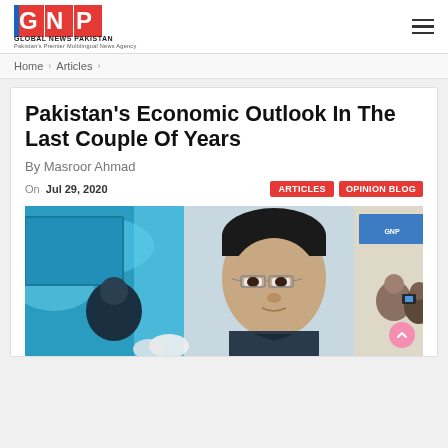GNP Global News Pakistan — Pakistan's Premier Multilingual News Agency
Home > Articles >
Pakistan's Economic Outlook In The Last Couple Of Years
By Masroor Ahmad
On  Jul 29, 2020
ARTICLES   OPINION BLOG
[Figure (photo): Photo of Masroor Ahmad at an event, wearing glasses, with a blurred background showing other attendees and a blue-lit stage area.]